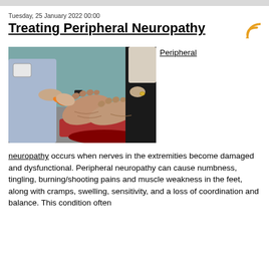Tuesday, 25 January 2022 00:00
Treating Peripheral Neuropathy
[Figure (photo): A healthcare provider examining the feet of a seated patient. The patient's bare feet rest on a round red stool. The provider holds an orange medical tool near the soles of the feet.]
Peripheral
neuropathy occurs when nerves in the extremities become damaged and dysfunctional. Peripheral neuropathy can cause numbness, tingling, burning/shooting pains and muscle weakness in the feet, along with cramps, swelling, sensitivity, and a loss of coordination and balance. This condition often